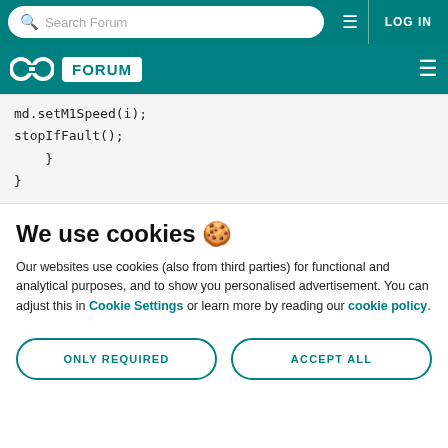Search Forum | LOG IN
Arduino FORUM
md.setM1Speed(i);
        stopIfFault();
    }
}
We use cookies 🍪
Our websites use cookies (also from third parties) for functional and analytical purposes, and to show you personalised advertisement. You can adjust this in Cookie Settings or learn more by reading our cookie policy.
ONLY REQUIRED | ACCEPT ALL